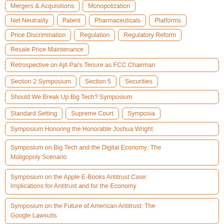Mergers & Acquisitions
Monopolization
Net Neutrality
Patent
Pharmaceuticals
Platforms
Price Discrimination
Regulation
Regulatory Reform
Resale Price Maintenance
Retrospective on Ajit Pai's Tenure as FCC Chairman
Section 2 Symposium
Section 5
Securities
Should We Break Up Big Tech? Symposium
Standard Setting
Supreme Court
Symposia
Symposium Honoring the Honorable Joshua Wright
Symposium on Big Tech and the Digital Economy: The Moligopoly Scenario
Symposium on the Apple E-Books Antitrust Case: Implications for Antitrust and for the Economy
Symposium on the Future of American Antitrust: The Google Lawsuits
Taxes
Telecommunications